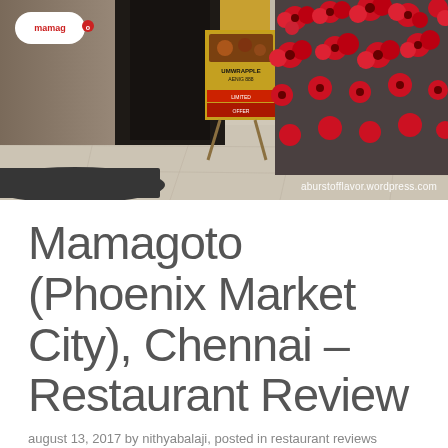[Figure (photo): Exterior entrance of Mamagoto restaurant at Phoenix Market City. Shows the restaurant logo on left, a dark entrance doorway in center, a yellow promotional poster on an easel stand, and a glass wall with red floral decorations on the right. Tiled floor with dark mat visible at bottom. Watermark 'aburstofflavor.wordpress.com' in bottom right.]
Mamagoto (Phoenix Market City), Chennai – Restaurant Review
august 13, 2017 by nithyabalaji, posted in restaurant reviews
Mamagoto is a pan-Asian restaurant chain. Chennai...